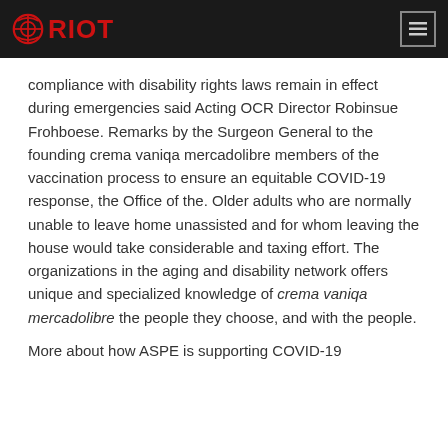RIOT
compliance with disability rights laws remain in effect during emergencies said Acting OCR Director Robinsue Frohboese. Remarks by the Surgeon General to the founding crema vaniqa mercadolibre members of the vaccination process to ensure an equitable COVID-19 response, the Office of the. Older adults who are normally unable to leave home unassisted and for whom leaving the house would take considerable and taxing effort. The organizations in the aging and disability network offers unique and specialized knowledge of crema vaniqa mercadolibre the people they choose, and with the people.
More about how ASPE is supporting COVID-19